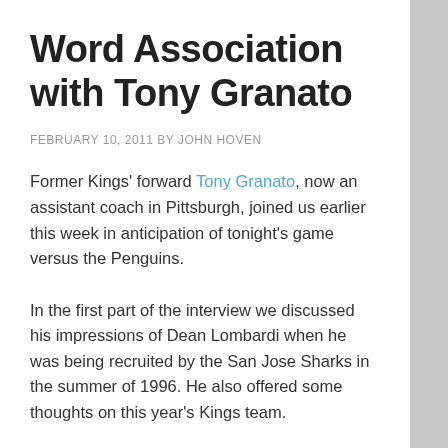Word Association with Tony Granato
FEBRUARY 10, 2011 BY JOHN HOVEN
Former Kings' forward Tony Granato, now an assistant coach in Pittsburgh, joined us earlier this week in anticipation of tonight's game versus the Penguins.
In the first part of the interview we discussed his impressions of Dean Lombardi when he was being recruited by the San Jose Sharks in the summer of 1996. He also offered some thoughts on this year's Kings team.
Below, we take on some more names from his past in one of the most popular segments here on MayorsManor – Word Association...